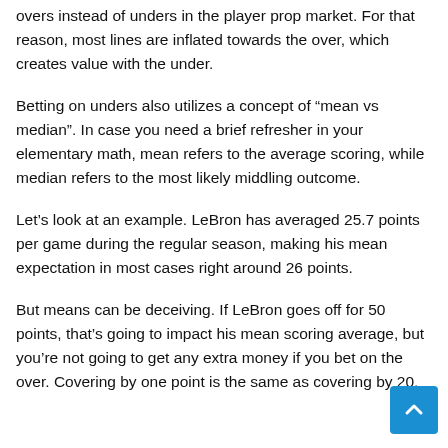overs instead of unders in the player prop market. For that reason, most lines are inflated towards the over, which creates value with the under.
Betting on unders also utilizes a concept of “mean vs median”. In case you need a brief refresher in your elementary math, mean refers to the average scoring, while median refers to the most likely middling outcome.
Let’s look at an example. LeBron has averaged 25.7 points per game during the regular season, making his mean expectation in most cases right around 26 points.
But means can be deceiving. If LeBron goes off for 50 points, that’s going to impact his mean scoring average, but you’re not going to get any extra money if you bet on the over. Covering by one point is the same as covering by 20.